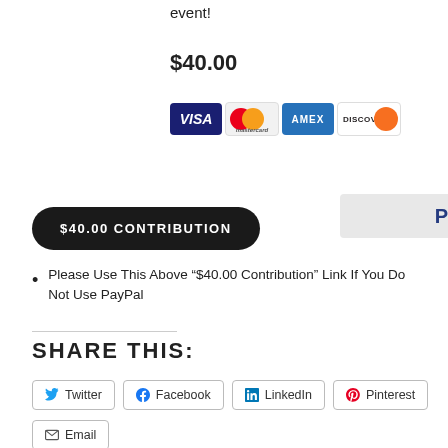event!
$40.00
[Figure (logo): PayPal logo and payment card logos (Visa, Mastercard, Amex, Discover)]
$40.00 CONTRIBUTION
Please Use This Above “$40.00 Contribution” Link If You Do Not Use PayPal
SHARE THIS:
Twitter | Facebook | LinkedIn | Pinterest | Email